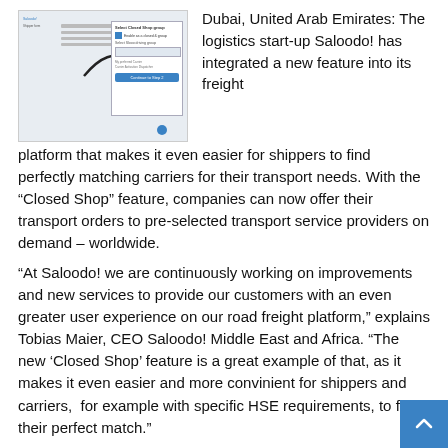[Figure (screenshot): Screenshot of the Saloodo! freight platform interface showing the Closed Shop feature settings panel with checkboxes and a blue button, with an arrow pointing to the panel.]
Dubai, United Arab Emirates: The logistics start-up Saloodo! has integrated a new feature into its freight platform that makes it even easier for shippers to find perfectly matching carriers for their transport needs. With the “Closed Shop” feature, companies can now offer their transport orders to pre-selected transport service providers on demand – worldwide.
“At Saloodo! we are continuously working on improvements and new services to provide our customers with an even greater user experience on our road freight platform,” explains Tobias Maier, CEO Saloodo! Middle East and Africa. “The new ‘Closed Shop’ feature is a great example of that, as it makes it even easier and more convinient for shippers and carriers, for example with specific HSE requirements, to find their perfect match.”